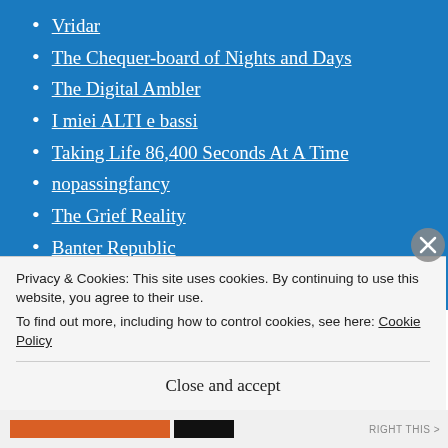Vridar
The Chequer-board of Nights and Days
The Digital Ambler
I miei ALTI e bassi
Taking Life 86,400 Seconds At A Time
nopassingfancy
The Grief Reality
Banter Republic
rheomode
Лягушка-путешественница
awifemyverse.wordpress.com/
Privacy & Cookies: This site uses cookies. By continuing to use this website, you agree to their use.
To find out more, including how to control cookies, see here: Cookie Policy
Close and accept